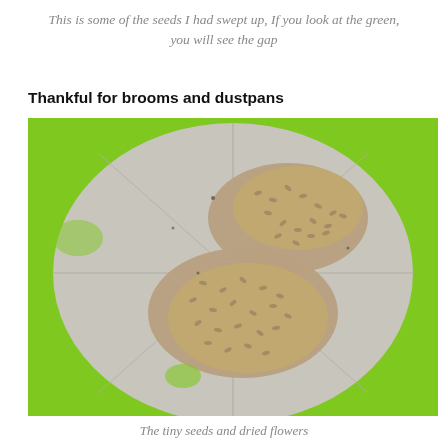This is some of the seeds I had swept up, If you look at the green, you will see the gap
Thankful for brooms and dustpans
[Figure (photo): Overhead view of a circular dustpan or plate holding a pile of tiny seeds and dried flower debris, placed on a bright green surface (table or floor). The seeds are tan/beige colored and clustered in a crescent-moon shape on the round surface. The background surface is a vivid lime green.]
The tiny seeds and dried flowers